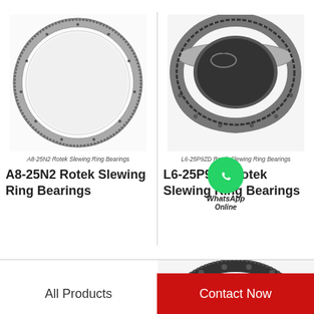[Figure (photo): A8-25N2 Rotek Slewing Ring Bearing – thin ring style with gear teeth around the outer edge, viewed from front]
A8-25N2 Rotek Slewing Ring Bearings
A8-25N2 Rotek Slewing Ring Bearings
[Figure (photo): L6-25P9ZD Rotek Slewing Ring Bearing – thicker double-ring style with bolt holes, viewed from angle]
L6-25P9ZD Rotek Slewing Ring Bearings
L6-25P9ZD Rotek Slewing Ring Bearings
[Figure (photo): Partial view of another Rotek slewing ring bearing in lower portion of page]
All Products
Contact Now